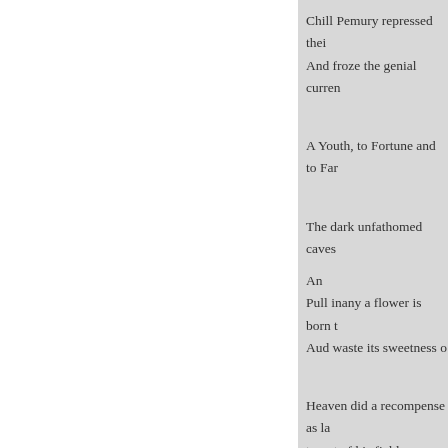Chill Pemury repressed thei
And froze the genial curren
A Youth, to Fortune and to Far
The dark unfathomed caves
An
Pull inany a flower is born t
Aud waste its sweetness o
Heaven did a recompense as la tyrant of his fields withstood;
He gave to Misery all he had,
Hegained from Heaven ('twas Cromwell guiltless of his country
No farther seek his merits disc
Or draw his frailties from thei